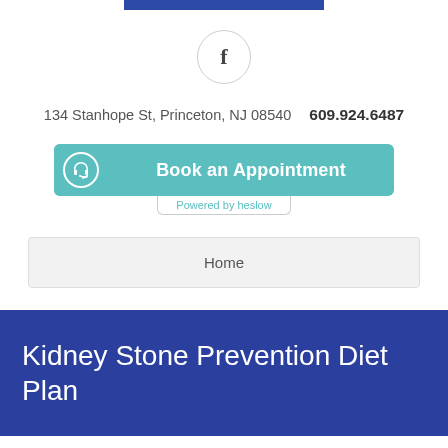[Figure (other): Blue decorative bar at top of page]
[Figure (logo): Facebook icon inside a circle]
134 Stanhope St, Princeton, NJ 08540   609.924.6487
[Figure (other): Book an Appointment button with teal background and headphone icon, Powered by heslow label below]
Home
Kidney Stone Prevention Diet Plan
How does diet affect